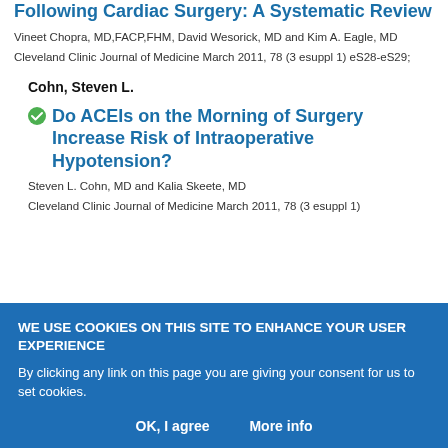Following Cardiac Surgery: A Systematic Review
Vineet Chopra, MD,FACP,FHM, David Wesorick, MD and Kim A. Eagle, MD
Cleveland Clinic Journal of Medicine March 2011, 78 (3 esuppl 1) eS28-eS29;
Cohn, Steven L.
Do ACEIs on the Morning of Surgery Increase Risk of Intraoperative Hypotension?
Steven L. Cohn, MD and Kalia Skeete, MD
Cleveland Clinic Journal of Medicine March 2011, 78 (3 esuppl 1)
WE USE COOKIES ON THIS SITE TO ENHANCE YOUR USER EXPERIENCE
By clicking any link on this page you are giving your consent for us to set cookies.
OK, I agree
More info